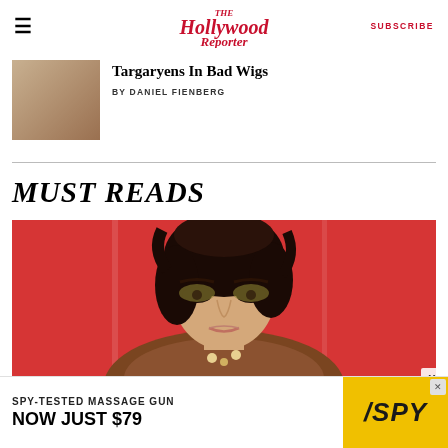The Hollywood Reporter | SUBSCRIBE
Targaryens In Bad Wigs
BY DANIEL FIENBERG
MUST READS
[Figure (photo): Person with dark hair, heavy eye makeup and fur coat, posing against a red background]
[Figure (photo): Advertisement: SPY-TESTED MASSAGE GUN NOW JUST $79, SPY logo on yellow background]